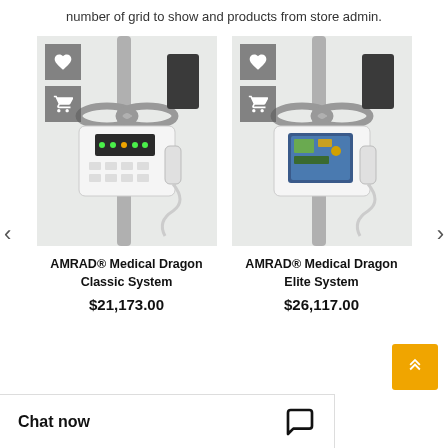number of grid to show and products from store admin.
[Figure (photo): AMRAD Medical Dragon Classic System - medical X-ray equipment on a stand with keypad control panel, with heart/wishlist and cart icons overlaid]
AMRAD® Medical Dragon Classic System
$21,173.00
[Figure (photo): AMRAD Medical Dragon Elite System - medical X-ray equipment on a stand with color touchscreen control panel, with heart/wishlist and cart icons overlaid]
AMRAD® Medical Dragon Elite System
$26,117.00
Chat now